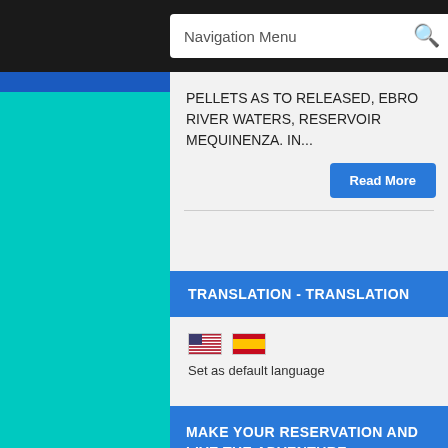Navigation Menu
PELLETS AS TO RELEASED, EBRO RIVER WATERS, RESERVOIR MEQUINENZA. IN...
Read More
TRANSLATION - TRANSLATION
Set as default language
MAKE YOUR RESERVATION AND LIVE THE ADVENTURE